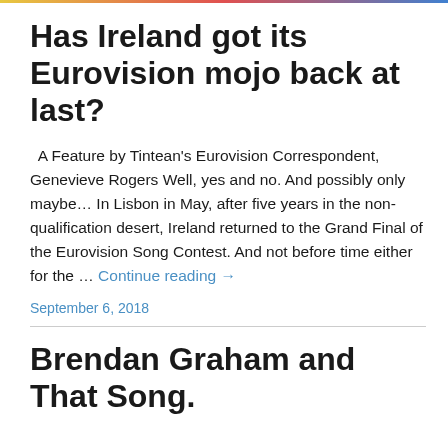Has Ireland got its Eurovision mojo back at last?
A Feature by Tintean's Eurovision Correspondent, Genevieve Rogers Well, yes and no. And possibly only maybe… In Lisbon in May, after five years in the non-qualification desert, Ireland returned to the Grand Final of the Eurovision Song Contest. And not before time either for the … Continue reading →
September 6, 2018
Brendan Graham and That Song.